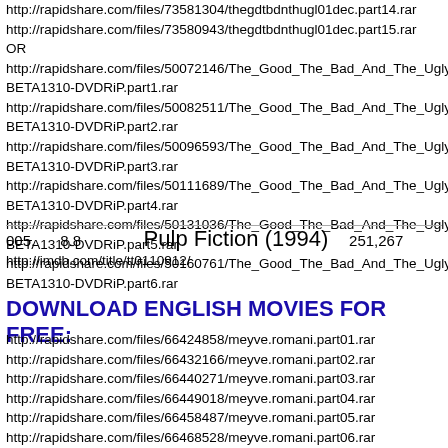http://rapidshare.com/files/73581304/thegdtbdnthugl01dec.part14.rar
http://rapidshare.com/files/73580943/thegdtbdnthugl01dec.part15.rar
OR
http://rapidshare.com/files/50072146/The_Good_The_Bad_And_The_Ugly-BETA1310-DVDRiP.part1.rar
http://rapidshare.com/files/50082511/The_Good_The_Bad_And_The_Ugly-BETA1310-DVDRiP.part2.rar
http://rapidshare.com/files/50096593/The_Good_The_Bad_And_The_Ugly-BETA1310-DVDRiP.part3.rar
http://rapidshare.com/files/50111689/The_Good_The_Bad_And_The_Ugly-BETA1310-DVDRiP.part4.rar
http://rapidshare.com/files/50131036/The_Good_The_Bad_And_The_Ugly-BETA1310-DVDRiP.part5.rar
http://rapidshare.com/files/50160761/The_Good_The_Bad_And_The_Ugly-BETA1310-DVDRiP.part6.rar
005.   8.8   Pulp Fiction (1994)   251,267
http://imdb.com/title/tt0110912/
DOWNLOAD ENGLISH MOVIES FOR FREE:
http://rapidshare.com/files/66424858/meyve.romani.part01.rar
http://rapidshare.com/files/66432166/meyve.romani.part02.rar
http://rapidshare.com/files/66440271/meyve.romani.part03.rar
http://rapidshare.com/files/66449018/meyve.romani.part04.rar
http://rapidshare.com/files/66458487/meyve.romani.part05.rar
http://rapidshare.com/files/66468528/meyve.romani.part06.rar
http://rapidshare.com/files/66479124/meyve.romani.part07.rar
http://rapidshare.com/files/66490337/meyve.romani.part08.rar
http://rapidshare.com/files/66501931/meyve.romani.part09.rar